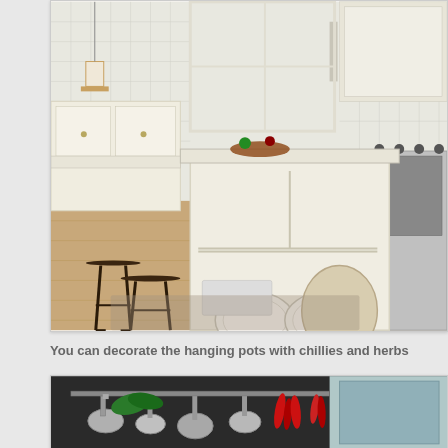[Figure (photo): A white farmhouse-style kitchen with a large center island featuring open shelving displaying plates and platters. Two dark wood bar stools are visible on the left side. The island has food and kitchen items on top. A gas range is visible on the right. The floor is wide-plank wood.]
You can decorate the hanging pots with chillies and herbs
[Figure (photo): A kitchen ceiling rack with hanging pots, pans, and decorative dried red chillies and green herbs hanging from a metal rack.]